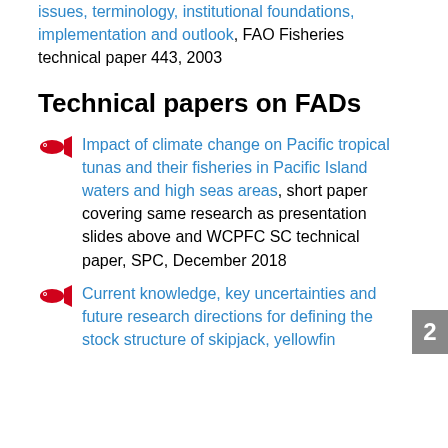issues, terminology, institutional foundations, implementation and outlook, FAO Fisheries technical paper 443, 2003
Technical papers on FADs
Impact of climate change on Pacific tropical tunas and their fisheries in Pacific Island waters and high seas areas, short paper covering same research as presentation slides above and WCPFC SC technical paper, SPC, December 2018
Current knowledge, key uncertainties and future research directions for defining the stock structure of skipjack, yellowfin